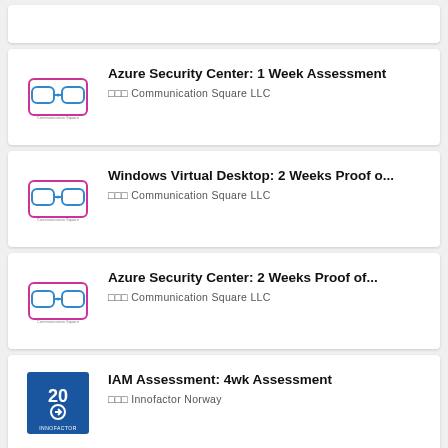[Figure (other): Partial top card stub (cropped)]
Azure Security Center: 1 Week Assessment
□□□ Communication Square LLC
[Figure (logo): Communication Square LLC logo]
Windows Virtual Desktop: 2 Weeks Proof o...
□□□ Communication Square LLC
[Figure (logo): Communication Square LLC logo]
Azure Security Center: 2 Weeks Proof of...
□□□ Communication Square LLC
[Figure (logo): Communication Square LLC logo]
IAM Assessment: 4wk Assessment
□□□ Innofactor Norway
[Figure (logo): Innofactor Norway logo - blue square with '20' and arrow icon]